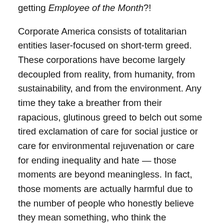getting Employee of the Month?!
Corporate America consists of totalitarian entities laser-focused on short-term greed. These corporations have become largely decoupled from reality, from humanity, from sustainability, and from the environment. Any time they take a breather from their rapacious, glutinous greed to belch out some tired exclamation of care for social justice or care for environmental rejuvenation or care for ending inequality and hate — those moments are beyond meaningless. In fact, those moments are actually harmful due to the number of people who honestly believe they mean something, who think the corporate world can ever be a force for good rather than the center of our own waltz off the cliff.
If we want to end oppression, we must end inequality. If